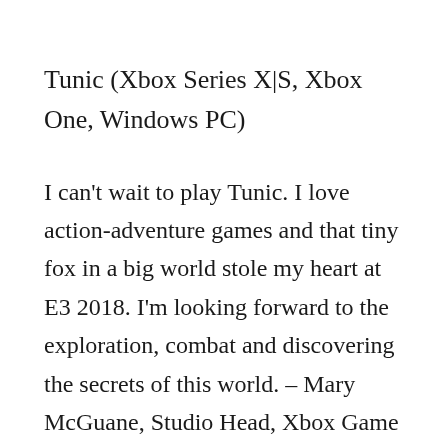Tunic (Xbox Series X|S, Xbox One, Windows PC)
I can't wait to play Tunic. I love action-adventure games and that tiny fox in a big world stole my heart at E3 2018. I'm looking forward to the exploration, combat and discovering the secrets of this world. – Mary McGuane, Studio Head, Xbox Game Studios